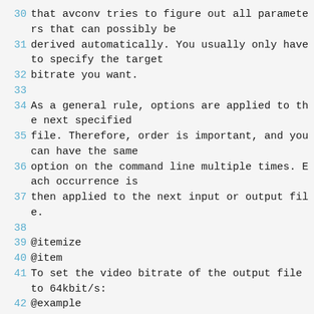30 that avconv tries to figure out all parameters that can possibly be
31 derived automatically. You usually only have to specify the target
32 bitrate you want.
33
34 As a general rule, options are applied to the next specified
35 file. Therefore, order is important, and you can have the same
36 option on the command line multiple times. Each occurrence is
37 then applied to the next input or output file.
38
39 @itemize
40 @item
41 To set the video bitrate of the output file to 64kbit/s:
42 @example
43 avconv -i input.avi -b 64k output.avi
44 @end example
45
46 @item
47 To force the frame rate of the output file to 24 fps: